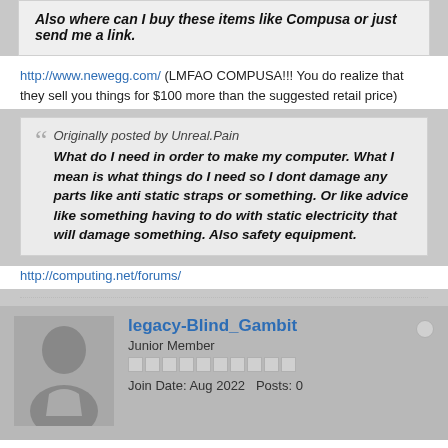Also where can I buy these items like Compusa or just send me a link.
http://www.newegg.com/ (LMFAO COMPUSA!!! You do realize that they sell you things for $100 more than the suggested retail price)
Originally posted by Unreal.Pain
What do I need in order to make my computer. What I mean is what things do I need so I dont damage any parts like anti static straps or something. Or like advice like something having to do with static electricity that will damage something. Also safety equipment.
http://computing.net/forums/
legacy-Blind_Gambit
Junior Member
Join Date: Aug 2022  Posts: 0
03-22-2005, 10:21 PM
#3
what knobby said^^